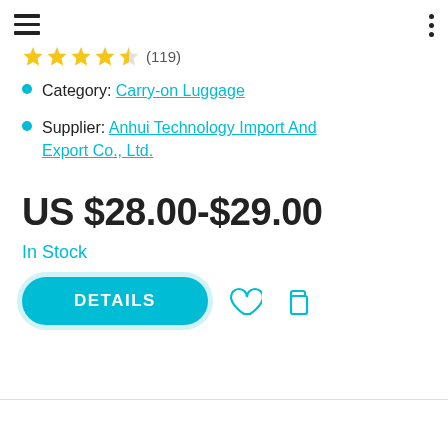★★★★½ (119)
Category: Carry-on Luggage
Supplier: Anhui Technology Import And Export Co., Ltd.
US $28.00-$29.00
In Stock
DETAILS